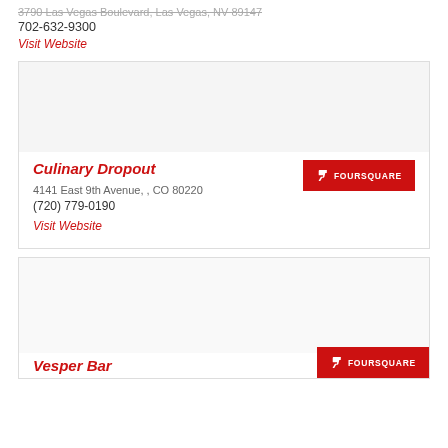702-632-9300
Visit Website
Culinary Dropout
4141 East 9th Avenue, , CO 80220
(720) 779-0190
Visit Website
Vesper Bar